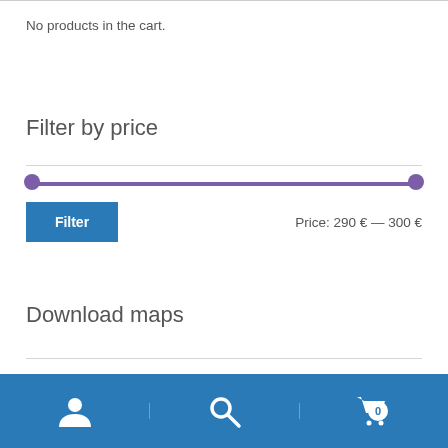No products in the cart.
Filter by price
[Figure (other): Price range slider from 290€ to 300€ shown as a purple horizontal track with two circular handles at each end]
Filter   Price: 290 € — 300 €
Download maps
Once a map is paid we will send you our vector map:
[Figure (other): Bottom navigation bar with blue background containing three icons: user/account icon, search/magnifier icon, and shopping cart icon with badge showing 0]